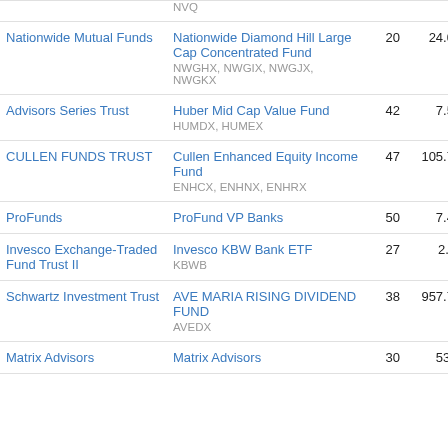| Trust | Fund | # | AUM | Volume |  |
| --- | --- | --- | --- | --- | --- |
|  | NVQ |  |  |  |  |
| Nationwide Mutual Funds | Nationwide Diamond Hill Large Cap Concentrated Fund
NWGHX, NWGIX, NWGJX, NWGKX | 20 | 24.07M | 969.61K | 4 |
| Advisors Series Trust | Huber Mid Cap Value Fund
HUMDX, HUMEX | 42 | 7.53M | 290.1K | 3 |
| CULLEN FUNDS TRUST | Cullen Enhanced Equity Income Fund
ENHCX, ENHNX, ENHRX | 47 | 105.79M | 4.07M | 3 |
| ProFunds | ProFund VP Banks | 50 | 7.45M | 281.97K | 3 |
| Invesco Exchange-Traded Fund Trust II | Invesco KBW Bank ETF
KBWB | 27 | 2.03B | 72.73M | 3 |
| Schwartz Investment Trust | AVE MARIA RISING DIVIDEND FUND
AVEDX | 38 | 957.76M | 32.6M | 3 |
| Matrix Advisors | Matrix Advisors | 30 | 53.1M | 1.78M | 3 |